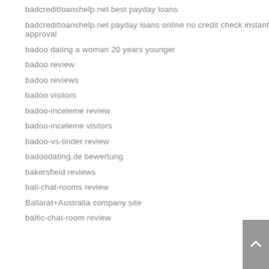badcreditloanshelp.net best payday loans
badcreditloanshelp.net payday loans online no credit check instant approval
badoo dating a woman 20 years younger
badoo review
badoo reviews
badoo visitors
badoo-inceleme review
badoo-inceleme visitors
badoo-vs-tinder review
badoodating.de bewertung
bakersfield reviews
bali-chat-rooms review
Ballarat+Australia company site
baltic-chat-room review